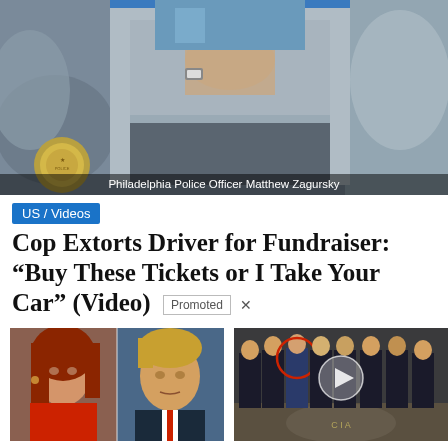[Figure (photo): Video screenshot showing a police officer's hand near a car dashboard, with caption 'Philadelphia Police Officer Matthew Zagursky']
US / Videos
Cop Extorts Driver for Fundraiser: “Buy These Tickets or I Take Your Car” (Video)
Promoted ×
[Figure (photo): Split image of a woman with red hair and a man in a suit (Jen Psaki and Donald Trump)]
Most Americans Don’t Know These Facts About White House Press Secretary Jen Psaki
🔥 12,447
[Figure (photo): Group of people in dark suits standing in front of CIA seal on floor, with video play button overlay]
Biden Probably Wants This Video Destroyed — US Dollar On Path Towards Replacement?
🔥 499,907